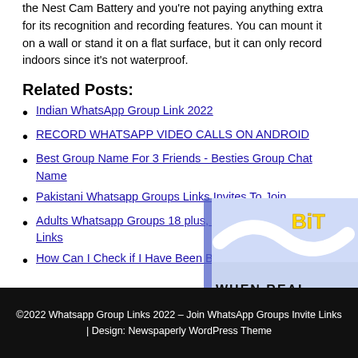the Nest Cam Battery and you're not paying anything extra for its recognition and recording features. You can mount it on a wall or stand it on a flat surface, but it can only record indoors since it's not waterproof.
Related Posts:
Indian WhatsApp Group Link 2022
RECORD WHATSAPP VIDEO CALLS ON ANDROID
Best Group Name For 3 Friends - Besties Group Chat Name
Pakistani Whatsapp Groups Links Invites To Join
Adults Whatsapp Groups 18 plus, 18+ Whatsapp Groups Links
How Can I Check if I Have Been Blocked on WhatsApp?
[Figure (illustration): Partially visible advertisement overlay with blue/yellow background, cartoon star characters, and text 'WHEN REAL IS QUARANTI' visible, with 'BITE' branding in yellow text]
©2022 Whatsapp Group Links 2022 – Join WhatsApp Groups Invite Links | Design: Newspaperly WordPress Theme